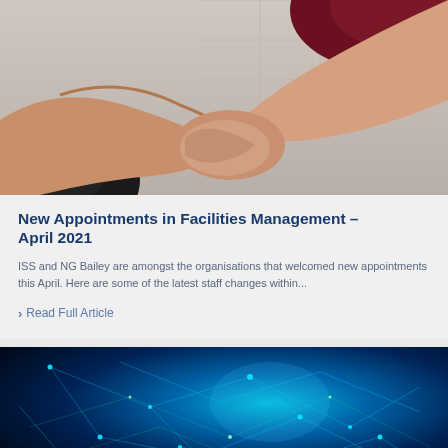[Figure (photo): Close-up photo of two people shaking hands against a white tiled background]
New Appointments in Facilities Management – April 2021
ISS and NG Bailey are amongst the organisations that welcomed new appointments this April. Here are some of the latest staff changes within...
Read Full Article
[Figure (photo): Dark blue digital network visualization showing glowing blue and green interconnected lines and nodes on dark background]